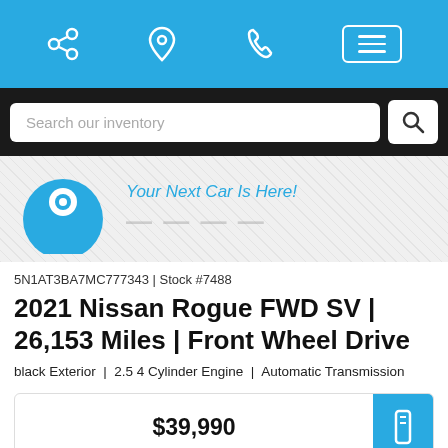Navigation bar with share, location, phone, and menu icons
Search our inventory
[Figure (logo): Dealer logo banner with blue circular character icon and italic text 'Your Next Car Is Here!' with partially visible dealer name below]
5N1AT3BA7MC777343 | Stock #7488
2021 Nissan Rogue FWD SV | 26,153 Miles | Front Wheel Drive
black Exterior  |  2.5 4 Cylinder Engine  |  Automatic Transmission
$39,990